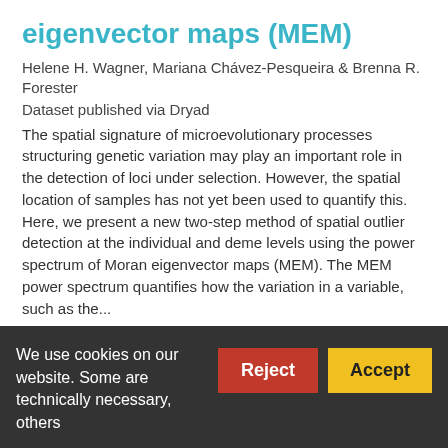eigenvector maps (MEM)
Helene H. Wagner, Mariana Chávez-Pesqueira & Brenna R. Forester
Dataset published via Dryad
The spatial signature of microevolutionary processes structuring genetic variation may play an important role in the detection of loci under selection. However, the spatial location of samples has not yet been used to quantify this. Here, we present a new two-step method of spatial outlier detection at the individual and deme levels using the power spectrum of Moran eigenvector maps (MEM). The MEM power spectrum quantifies how the variation in a variable, such as the...
1 citation   243 views   65 downloads
We use cookies on our website. Some are technically necessary, others
Reject
Accept